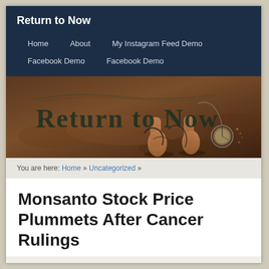Return to Now
Home
About
My Instagram Feed Demo
Facebook Demo
Facebook Demo
[Figure (illustration): Banner image showing 'Return to Now' text in decorative font over a background of bare feet walking on dirt ground with a pocket watch, in dark warm tones.]
You are here: Home » Uncategorized »
Monsanto Stock Price Plummets After Cancer Rulings